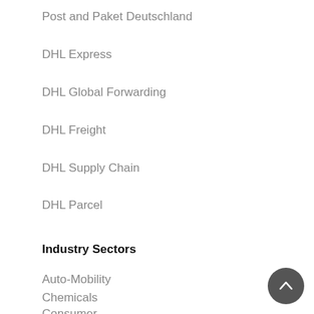Post and Paket Deutschland
DHL Express
DHL Global Forwarding
DHL Freight
DHL Supply Chain
DHL Parcel
Industry Sectors
Auto-Mobility
Chemicals
Consumer